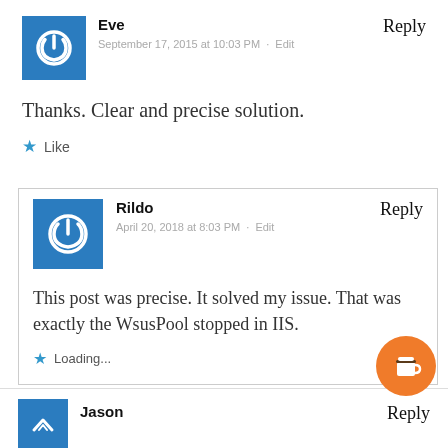Eve
September 17, 2015 at 10:03 PM · Edit
Reply
Thanks. Clear and precise solution.
Like
Rildo
April 20, 2018 at 8:03 PM · Edit
Reply
This post was precise. It solved my issue. That was exactly the WsusPool stopped in IIS.
Loading...
Jason
Reply